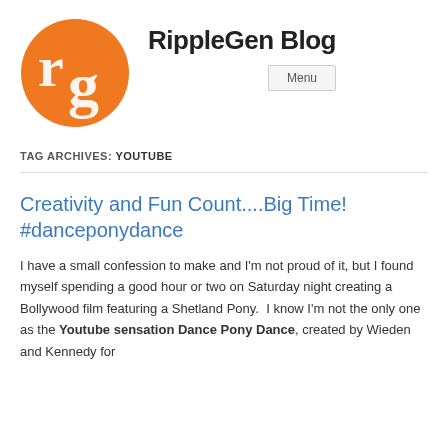[Figure (logo): RippleGen orange circle logo with white 'rg' letters]
RippleGen Blog
Menu
TAG ARCHIVES: YOUTUBE
Creativity and Fun Count....Big Time! #danceponydance
I have a small confession to make and I'm not proud of it, but I found myself spending a good hour or two on Saturday night creating a Bollywood film featuring a Shetland Pony.  I know I'm not the only one as the Youtube sensation Dance Pony Dance, created by Wieden and Kennedy for